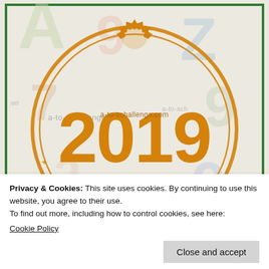[Figure (illustration): A to Z Challenge 2019 stamp/badge logo with orange circular stamp design showing '2019' in large orange numerals, a gear/sunburst shape, and '2009-2019' arc text around the bottom. Background has faded multi-colored letters and numbers. Green border surrounds the image area. Text 'Blogging From A to Z' partially visible at bottom of image in red serif font. Website text 'a-to-zchallenge.com' visible inside stamp.]
Privacy & Cookies: This site uses cookies. By continuing to use this website, you agree to their use.
To find out more, including how to control cookies, see here:
Cookie Policy
Close and accept
[Figure (illustration): Bottom strip showing partial view of another A to Z Challenge badge/logo with colorful letters and numbers on a light background, green border visible.]